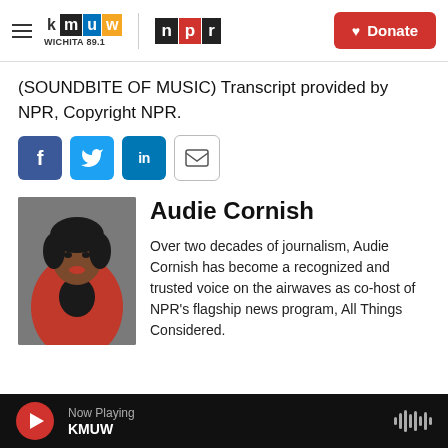KMUW Wichita 89.1 | NPR | Donate
(SOUNDBITE OF MUSIC) Transcript provided by NPR, Copyright NPR.
[Figure (infographic): Social sharing icons: Facebook (f), Twitter (bird), LinkedIn (in), Email (envelope)]
[Figure (photo): Headshot of Audie Cornish wearing a red blazer against a grey background]
Audie Cornish
Over two decades of journalism, Audie Cornish has become a recognized and trusted voice on the airwaves as co-host of NPR's flagship news program, All Things Considered.
Now Playing KMUW